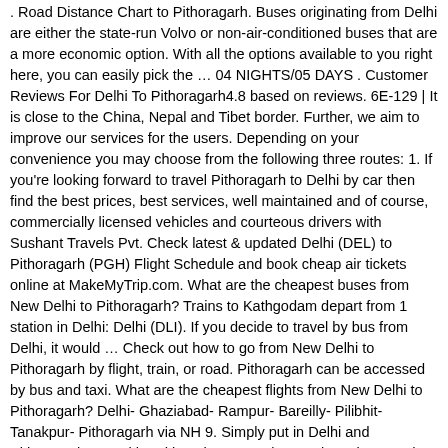. Road Distance Chart to Pithoragarh. Buses originating from Delhi are either the state-run Volvo or non-air-conditioned buses that are a more economic option. With all the options available to you right here, you can easily pick the … 04 NIGHTS/05 DAYS . Customer Reviews For Delhi To Pithoragarh4.8 based on reviews. 6E-129 | It is close to the China, Nepal and Tibet border. Further, we aim to improve our services for the users. Depending on your convenience you may choose from the following three routes: 1. If you're looking forward to travel Pithoragarh to Delhi by car then find the best prices, best services, well maintained and of course, commercially licensed vehicles and courteous drivers with Sushant Travels Pvt. Check latest & updated Delhi (DEL) to Pithoragarh (PGH) Flight Schedule and book cheap air tickets online at MakeMyTrip.com. What are the cheapest buses from New Delhi to Pithoragarh? Trains to Kathgodam depart from 1 station in Delhi: Delhi (DLI). If you decide to travel by bus from Delhi, it would … Check out how to go from New Delhi to Pithoragarh by flight, train, or road. Pithoragarh can be accessed by bus and taxi. What are the cheapest flights from New Delhi to Pithoragarh? Delhi- Ghaziabad- Rampur- Bareilly- Pilibhit- Tanakpur- Pithoragarh via NH 9. Simply put in Delhi and Pithoragarh Uttarakhand into the respective text box given, and click to the 'Show Direction' button. The cost of cab ranges from INR 5 per kilometre, depending upon the type of car. Delhi NCR Flights from Hindon Air Force Base Civil Terminal to Naini Saini Aiport in Pithoragarh has been